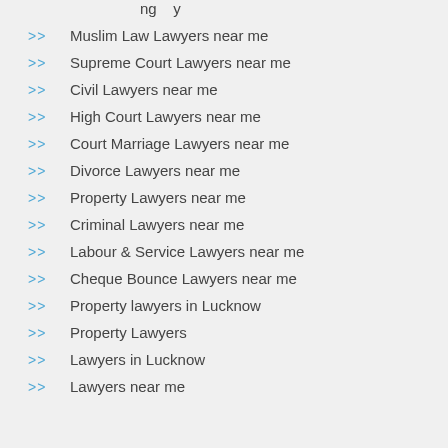Muslim Law Lawyers near me
Supreme Court Lawyers near me
Civil Lawyers near me
High Court Lawyers near me
Court Marriage Lawyers near me
Divorce Lawyers near me
Property Lawyers near me
Criminal Lawyers near me
Labour & Service Lawyers near me
Cheque Bounce Lawyers near me
Property lawyers in Lucknow
Property Lawyers
Lawyers in Lucknow
Lawyers near me